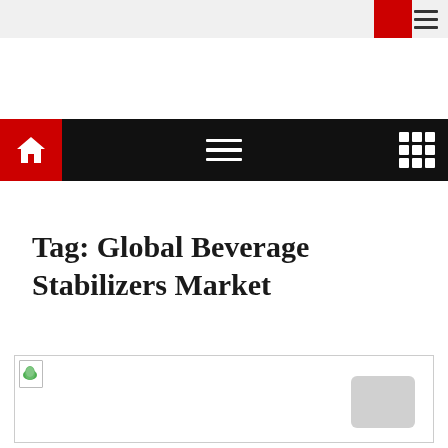Tag: Global Beverage Stabilizers Market
[Figure (screenshot): Partially loaded image placeholder with a small document/leaf icon in the top-left corner and a gray rounded button in the bottom-right area]